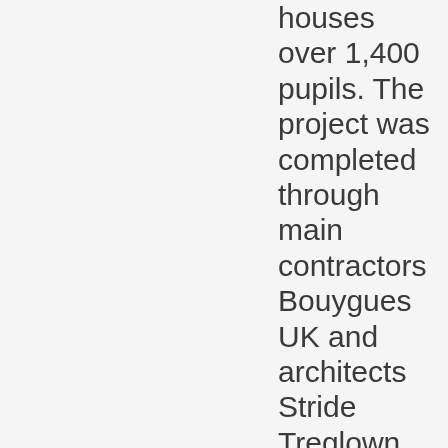houses over 1,400 pupils. The project was completed through main contractors Bouygues UK and architects Stride Treglown, and is [...]